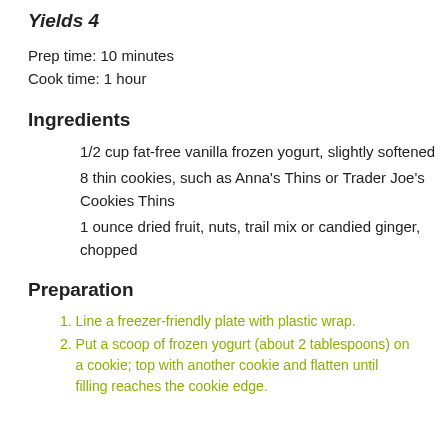Yields 4
Prep time: 10 minutes
Cook time: 1 hour
Ingredients
1/2 cup fat-free vanilla frozen yogurt, slightly softened
8 thin cookies, such as Anna's Thins or Trader Joe's Cookies Thins
1 ounce dried fruit, nuts, trail mix or candied ginger, chopped
Preparation
1. Line a freezer-friendly plate with plastic wrap.
2. Put a scoop of frozen yogurt (about 2 tablespoons) on a cookie; top with another cookie and flatten until filling reaches the cookie edge.